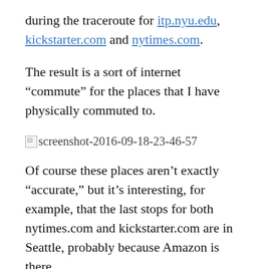during the traceroute for itp.nyu.edu, kickstarter.com and nytimes.com.
The result is a sort of internet “commute” for the places that I have physically commuted to.
[Figure (other): Broken image placeholder with filename: screenshot-2016-09-18-23-46-57]
Of course these places aren’t exactly “accurate,” but it’s interesting, for example, that the last stops for both nytimes.com and kickstarter.com are in Seattle, probably because Amazon is there.
One note: I think it’s kind of funny how much more time my real world commute takes than